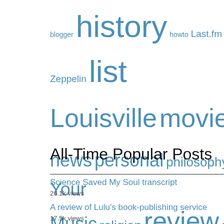[Figure (other): Tag cloud with words of varying sizes in blue, including: blogger, history, howto, Last.fm, Led Zeppelin, list, Louisville, movies, mp3, music, Nashville, news, personal, philosophy, photos, podcast, Rate Your Music, religion, review, science, software, spreadsheet, statistics, travel, Tuesday, Zep, vacation, video, WordPress, world, YouTube, Zepfanman]
All-Time Popular Posts
Science Saved My Soul transcript
26.1k views
A review of Lulu's book-publishing service
17.5k views
Zepfanman's mega spreadsheet of movie ratings
17.5k views